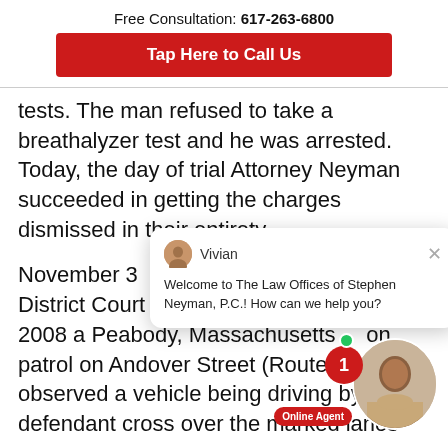Free Consultation: 617-263-6800
Tap Here to Call Us
tests. The man refused to take a breathalyzer test and he was arrested. Today, the day of trial Attorney Neyman succeeded in getting the charges dismissed in their entirety.
[Figure (screenshot): Live chat popup with avatar of agent named Vivian and message: Welcome to The Law Offices of Stephen Neyman, P.C.! How can we help you?]
November 3... Man acquitt... Peabody District Court # 08-0583. On March 16, 2008 a Peabody, Massachusetts ... on patrol on Andover Street (Route 114... he observed a vehicle being driving by... defendant cross over the marked lanes...